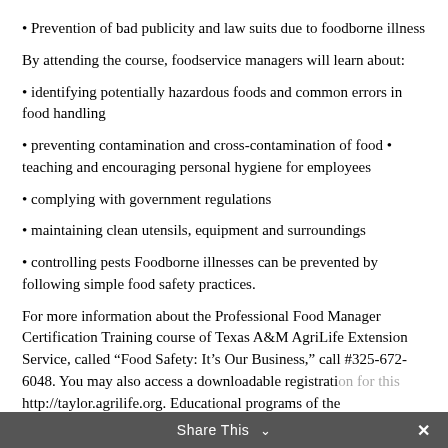Prevention of bad publicity and law suits due to foodborne illness
By attending the course, foodservice managers will learn about:
identifying potentially hazardous foods and common errors in food handling
preventing contamination and cross-contamination of food • teaching and encouraging personal hygiene for employees
complying with government regulations
maintaining clean utensils, equipment and surroundings
controlling pests Foodborne illnesses can be prevented by following simple food safety practices.
For more information about the Professional Food Manager Certification Training course of Texas A&M AgriLife Extension Service, called “Food Safety: It’s Our Business,” call #325-672-6048. You may also access a downloadable registration for this http://taylor.agrilife.org. Educational programs of the
Share This